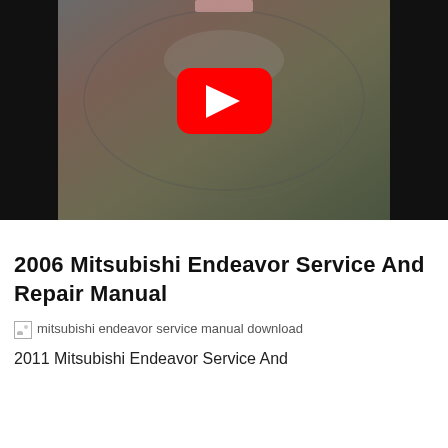[Figure (screenshot): YouTube video thumbnail showing a dark video with a red YouTube play button in the center. The center portion shows a blurry interior scene (possibly car interior) with dark/black side bars on left and right.]
2006 Mitsubishi Endeavor Service And Repair Manual
[Figure (photo): Broken/missing image placeholder with alt text: mitsubishi endeavor service manual download]
2011 Mitsubishi Endeavor Service And